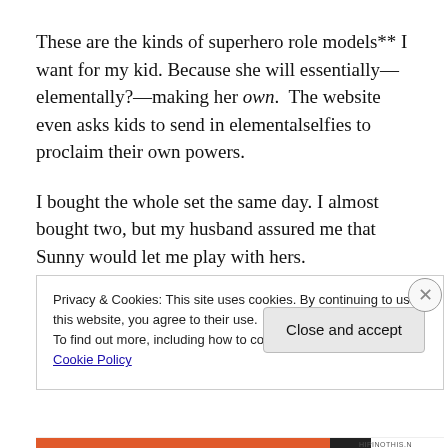These are the kinds of superhero role models** I want for my kid. Because she will essentially—elementally?—making her own.  The website even asks kids to send in elementalselfies to proclaim their own powers.
I bought the whole set the same day. I almost bought two, but my husband assured me that Sunny would let me play with hers.
Privacy & Cookies: This site uses cookies. By continuing to use this website, you agree to their use.
To find out more, including how to control cookies, see here: Cookie Policy